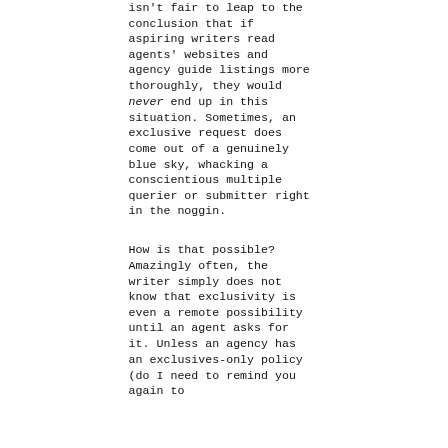isn't fair to leap to the conclusion that if aspiring writers read agents' websites and agency guide listings more thoroughly, they would never end up in this situation. Sometimes, an exclusive request does come out of a genuinely blue sky, whacking a conscientious multiple querier or submitter right in the noggin.
How is that possible? Amazingly often, the writer simply does not know that exclusivity is even a remote possibility until an agent asks for it. Unless an agency has an exclusives-only policy (do I need to remind you again to check? In the meantime, I'm